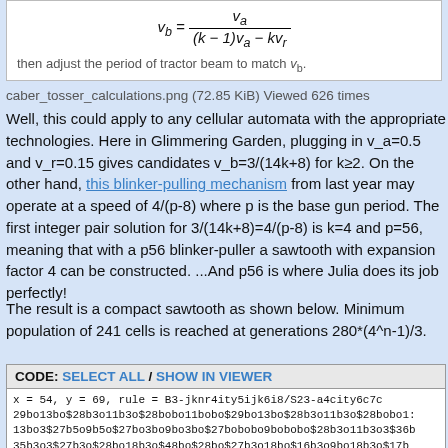[Figure (math-figure): Formula box showing v_b = v_a / ((k-1)v_a - kv_r) with caption 'then adjust the period of tractor beam to match v_b.']
caber_tosser_calculations.png (72.85 KiB) Viewed 626 times
Well, this could apply to any cellular automata with the appropriate technologies. Here in Glimmering Garden, plugging in v_a=0.5 and v_r=0.15 gives candidates v_b=3/(14k+8) for k≥2. On the other hand, this blinker-pulling mechanism from last year may operate at a speed of 4/(p-8) where p is the base gun period. The first integer pair solution for 3/(14k+8)=4/(p-8) is k=4 and p=56, meaning that with a p56 blinker-puller a sawtooth with expansion factor 4 can be constructed. ...And p56 is where Julia does its job perfectly!
The result is a compact sawtooth as shown below. Minimum population of 241 cells is reached at generations 280*(4^n-1)/3.
CODE: SELECT ALL / SHOW IN VIEWER
x = 54, y = 69, rule = B3-jknr4ity5ijk6i8/S23-a4city6c7c
29bo13bo$28b3o11b3o$28bobo11bobo$29bo13bo$28b3o11b3o$28bobo1:
13bo3$27b5o9b5o$27bo3bo9bo3bo$27bobobo9bobobo$28b3o11b3o3$36b
35b3o3$27b3o$28bo18b3o$48bo$28bo$27b3o18bo$16b3o9bo18b3o$17bo
26bo3bo17bo$17bo28bo3bo$16b3o7bo3bo$17bo28bo3bo$17bo10bo$15bo
15bo3bo$48b2o$17bo26b2o6b2o$44b3ob2ob3o$44b2o6b2o$48b2o2$29b
13bo$13b3o13bo$14bo18b3o8bo$34bo6b2ob2o$14bo25b2obo$34bo6bo2:
19b2o24bo3bobo$18bobo18b2o4bo4bo$18b2o18bobo$38b2o2$4b3o$4bo:
4b3o2bo2b3o9bo2bo$6bo2bo2b3o9b3o2bo2b3o$bo4b3o4bo12bo2bo2b3o:
3o4bo$bo9bobobo4bobo$11bobobo5bo9bobobo$31bobobo$13bo$12b3o1:
17b3o$32b3o!